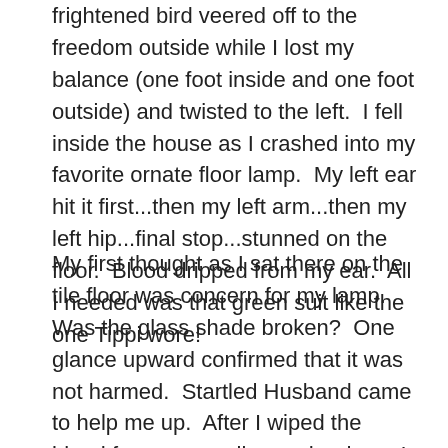frightened bird veered off to the freedom outside while I lost my balance (one foot inside and one foot outside) and twisted to the left.  I fell inside the house as I crashed into my favorite ornate floor lamp.  My left ear hit it first...then my left arm...then my left hip...final stop...stunned on the floor.  Blood dripped from my ear.  All I needed was that green suit like the one Tippi wore!
My first thought as I sat there on the tile floor was concern for my lamp.  Was the glass shade broken?  One glance upward confirmed that it was not harmed.  Startled Husband came to help me up.  After I wiped the blood from my swollen and red ear, I needed another cup of strong coffee. (Didn't Tippi get something stronger?  Brandy, perhaps?)  I had no broken bones – only a few bruises the next day.  So be careful when you are bird watching.  It can be dangerous!